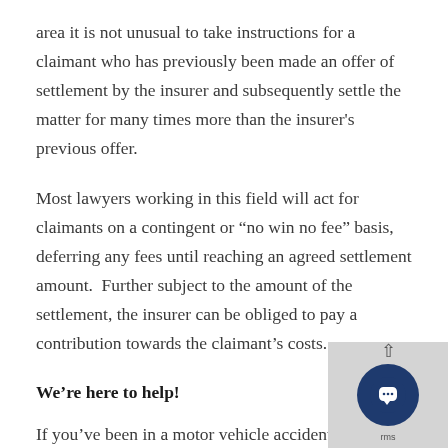area it is not unusual to take instructions for a claimant who has previously been made an offer of settlement by the insurer and subsequently settle the matter for many times more than the insurer's previous offer.
Most lawyers working in this field will act for claimants on a contingent or “no win no fee” basis, deferring any fees until reaching an agreed settlement amount.  Further subject to the amount of the settlement, the insurer can be obliged to pay a contribution towards the claimant’s costs.
We’re here to help!
If you’ve been in a motor vehicle accident we’re here to help guide you through the accident claims process. We have permanent offices in Adelaide, Port Augusta, Whyalla,